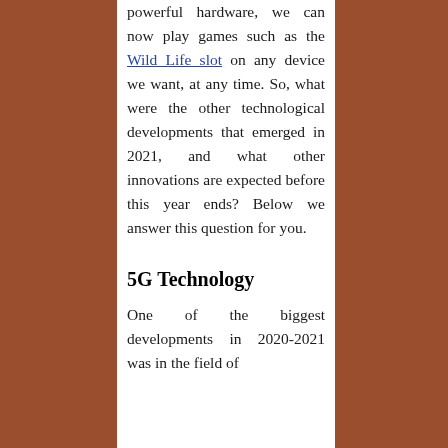powerful hardware, we can now play games such as the Wild Life slot on any device we want, at any time. So, what were the other technological developments that emerged in 2021, and what other innovations are expected before this year ends? Below we answer this question for you.
5G Technology
One of the biggest developments in 2020-2021 was in the field of